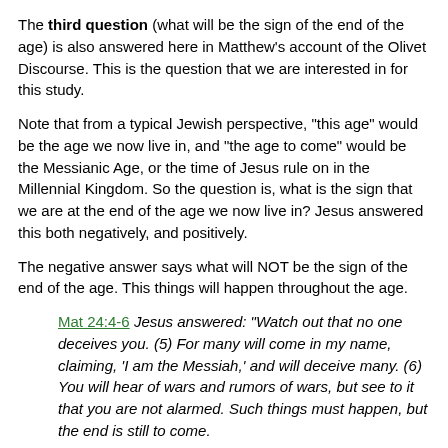The third question (what will be the sign of the end of the age) is also answered here in Matthew's account of the Olivet Discourse. This is the question that we are interested in for this study.
Note that from a typical Jewish perspective, "this age" would be the age we now live in, and "the age to come" would be the Messianic Age, or the time of Jesus rule on in the Millennial Kingdom. So the question is, what is the sign that we are at the end of the age we now live in? Jesus answered this both negatively, and positively.
The negative answer says what will NOT be the sign of the end of the age. This things will happen throughout the age.
Mat 24:4-6 Jesus answered: "Watch out that no one deceives you. (5) For many will come in my name, claiming, 'I am the Messiah,' and will deceive many. (6) You will hear of wars and rumors of wars, but see to it that you are not alarmed. Such things must happen, but the end is still to come.
The positive answer says what WILL be the sign that the end of the age has begun, and that is "nation will rise against nation, and kingdom against kingdom".